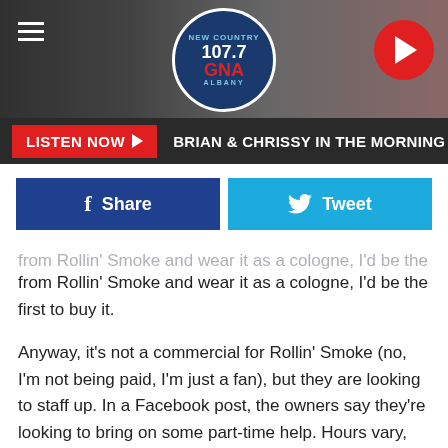[Figure (screenshot): 107.7 GNA New Country Albany radio station website header with logo, hamburger menu, and play button]
LISTEN NOW ▶  BRIAN & CHRISSY IN THE MORNING
[Figure (screenshot): Facebook Share and Twitter Tweet social sharing buttons]
from Rollin' Smoke and wear it as a cologne, I'd be the first to buy it.
Anyway, it's not a commercial for Rollin' Smoke (no, I'm not being paid, I'm just a fan), but they are looking to staff up. In a Facebook post, the owners say they're looking to bring on some part-time help. Hours vary, but they say the days when they need people are Thursday through Saturday.
They expect a very busy spring and summer, not just with the restaurant, but also with catering gigs around the area.